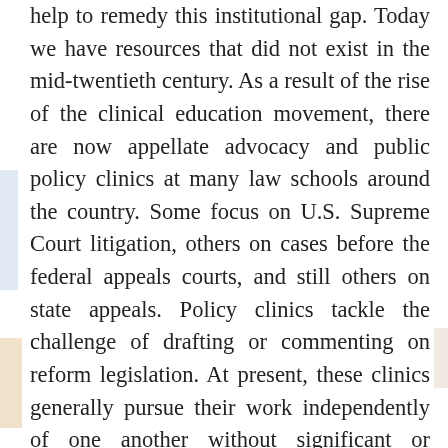help to remedy this institutional gap. Today we have resources that did not exist in the mid-twentieth century. As a result of the rise of the clinical education movement, there are now appellate advocacy and public policy clinics at many law schools around the country. Some focus on U.S. Supreme Court litigation, others on cases before the federal appeals courts, and still others on state appeals. Policy clinics tackle the challenge of drafting or commenting on reform legislation. At present, these clinics generally pursue their work independently of one another without significant or sustained collaboration. However, we now have the technology to link them effectively. We believe that if properly coordinated, these programs could provide a vital network of resources for the Latino community to address the legal challenges that it faces. Although the support would not be housed at a single institution, the network would allow us to create a kind of “virtual Howard.” Indeed, this network could have distinct